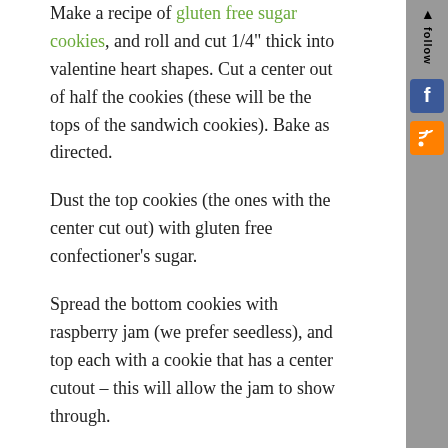Make a recipe of gluten free sugar cookies, and roll and cut 1/4" thick into valentine heart shapes. Cut a center out of half the cookies (these will be the tops of the sandwich cookies). Bake as directed.
Dust the top cookies (the ones with the center cut out) with gluten free confectioner's sugar.
Spread the bottom cookies with raspberry jam (we prefer seedless), and top each with a cookie that has a center cutout – this will allow the jam to show through.
A pretty, gluten free cookie for Valentine's Day!